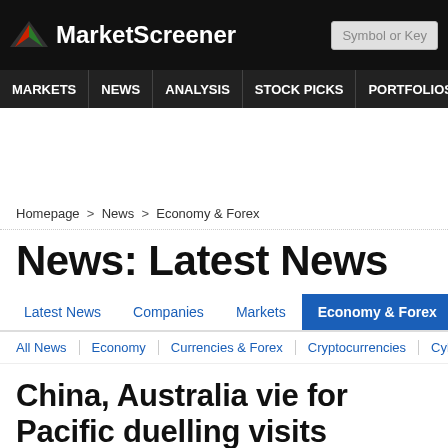MarketScreener | Symbol or Key
MARKETS | NEWS | ANALYSIS | STOCK PICKS | PORTFOLIOS | WATCHLI
Homepage > News > Economy & Forex
News: Latest News
Latest News | Companies | Markets | Economy & Forex | Commoditi
All News | Economy | Currencies & Forex | Cryptocurrencies | Cybe
China, Australia vie for Pacific duelling visits